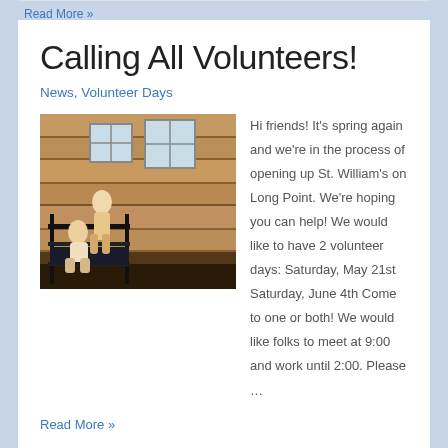Read More »
Calling All Volunteers!
News, Volunteer Days
[Figure (photo): Two people working on bunk beds in a wood-paneled cabin room with windows]
Hi friends! It's spring again and we're in the process of opening up St. William's on Long Point. We're hoping you can help! We would like to have 2 volunteer days: Saturday, May 21st Saturday, June 4th Come to one or both! We would like folks to meet at 9:00 and work until 2:00. Please …
Read More »